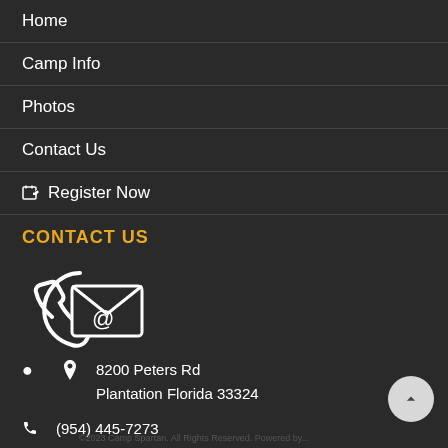Home
Camp Info
Photos
Contact Us
Register Now
CONTACT US
[Figure (illustration): Phone and email contact icons combined graphic]
8200 Peters Rd
Plantation Florida 33324
(954) 445-7273
campspartanplantation@gmail.com
©2023 Camp Spartan. All Rights Reserved. Powered by...